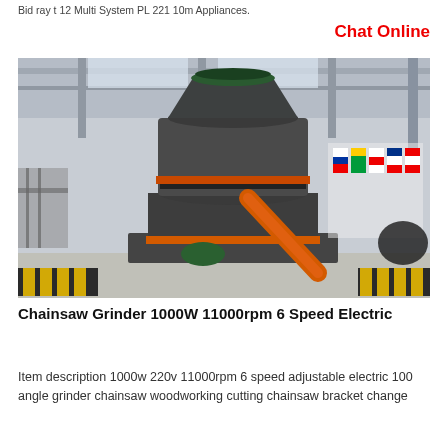Bid ray t 12 Multi System PL 221 10m Appliances.
Chat Online
[Figure (photo): Large industrial grinding mill machine (vertical roller mill) displayed inside a large warehouse/factory hall. The machine is dark grey with orange accents and a green base component. International flags are visible in the background. The floor around the machine has yellow and black safety striping.]
Chainsaw Grinder 1000W 11000rpm 6 Speed Electric
Item description 1000w 220v 11000rpm 6 speed adjustable electric 100 angle grinder chainsaw woodworking cutting chainsaw bracket change